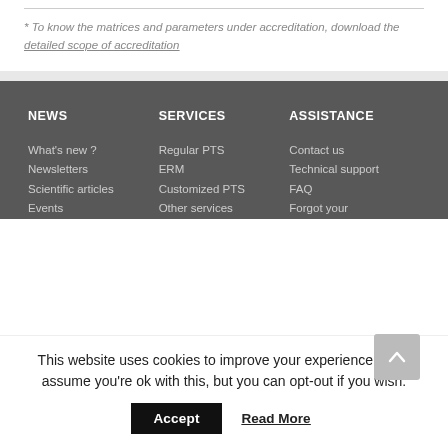* To know the matrices and parameters under accreditation, download the detailed scope of accreditation
NEWS
SERVICES
ASSISTANCE
What's new ?
Newsletters
Scientific articles
Events
Regular PTS
ERM
Customized PTS
Other services
Contact us
Technical support
FAQ
Forgot your
This website uses cookies to improve your experience. We'll assume you're ok with this, but you can opt-out if you wish.